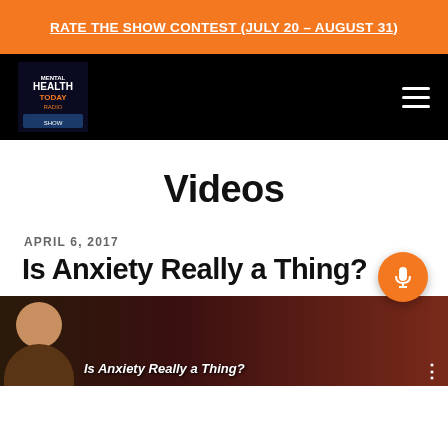RATE THE SHOW CONTEST (JULY 20 – AUGUST 31)
[Figure (logo): Mental Health Today podcast logo on black navigation bar with hamburger menu icon]
Videos
APRIL 6, 2017
Is Anxiety Really a Thing?
[Figure (screenshot): Video thumbnail showing a man on left and a second person on right with text 'Is Anxiety Really a Thing?' overlaid. Orange microphone button floating in bottom right.]